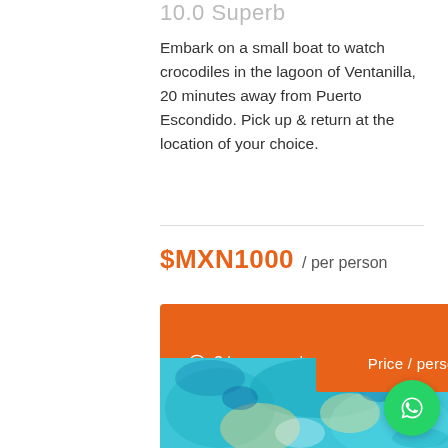10.0 Superb
Embark on a small boat to watch crocodiles in the lagoon of Ventanilla, 20 minutes away from Puerto Escondido. Pick up & return at the location of your choice.
$MXN1000 / per person
3 hours   home   Tours
Price / person
[Figure (photo): Aerial or water-level colorful abstract view of turquoise water with blue, yellow, and white swirls, possibly a lagoon from above.]